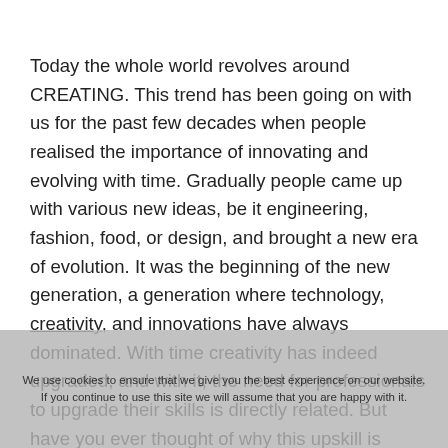Today the whole world revolves around CREATING. This trend has been going on with us for the past few decades when people realised the importance of innovating and evolving with time. Gradually people came up with various new ideas, be it engineering, fashion, food, or design, and brought a new era of evolution. It was the beginning of the new generation, a generation where technology, creativity, and innovations have always dominated. With time creativity has indeed upgraded, and with it, the need for professionals to upgrade their skills is directly related. But have you ever thought of why this upskill is needed? Why do we need to upskill
We use cookies to ensure that we give you the best experience on our website. If you continue to use this site we will assume that you are happy with it.